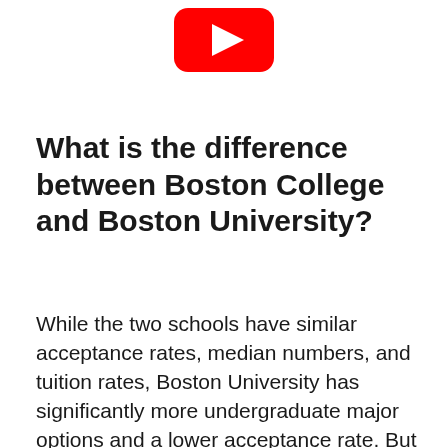[Figure (logo): YouTube play button logo — red rounded rectangle with white triangle play icon]
What is the difference between Boston College and Boston University?
While the two schools have similar acceptance rates, median numbers, and tuition rates, Boston University has significantly more undergraduate major options and a lower acceptance rate. But one of the biggest differences is in the undergraduate population. BU has over 3 times as many undergrads as BC.